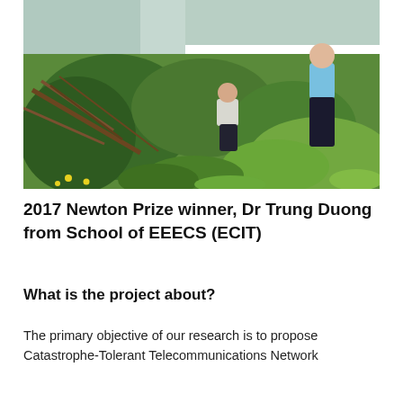[Figure (photo): Outdoor photograph showing two people standing near a riverbank with lush green vegetation, ferns, and bushes in the foreground. One person in blue shirt on the right, another crouching in the center among the green shrubs.]
2017 Newton Prize winner, Dr Trung Duong from School of EEECS (ECIT)
What is the project about?
The primary objective of our research is to propose Catastrophe-Tolerant Telecommunications Network (CTTNs...